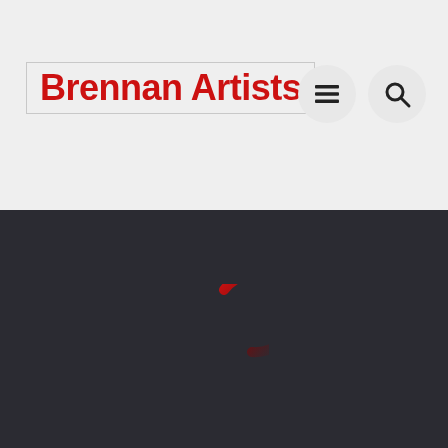Brennan Artists
[Figure (logo): Brennan Artists logo text in red with border, hamburger menu icon and search icon on right]
[Figure (other): Dark background section with a red-to-dark red gradient circular loading spinner icon in the center]